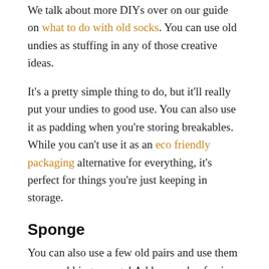We talk about more DIYs over on our guide on what to do with old socks. You can use old undies as stuffing in any of those creative ideas.
It's a pretty simple thing to do, but it'll really put your undies to good use. You can also use it as padding when you're storing breakables. While you can't use it as an eco friendly packaging alternative for everything, it's perfect for things you're just keeping in storage.
Sponge
You can also use a few old pairs and use them as a scrubbing sponge! Add a couple of pairs in a mesh bag (e.g., onion bag) and then seal it tight.
Use it to scrub away stains from your beloved